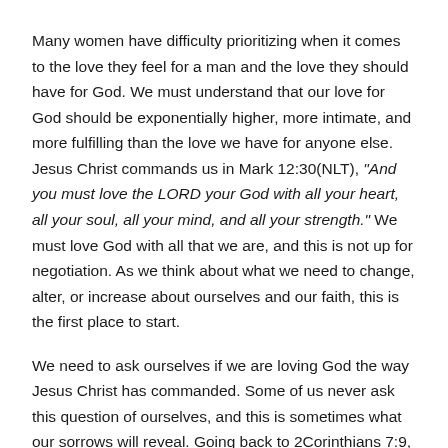Many women have difficulty prioritizing when it comes to the love they feel for a man and the love they should have for God. We must understand that our love for God should be exponentially higher, more intimate, and more fulfilling than the love we have for anyone else. Jesus Christ commands us in Mark 12:30(NLT), "And you must love the LORD your God with all your heart, all your soul, all your mind, and all your strength." We must love God with all that we are, and this is not up for negotiation. As we think about what we need to change, alter, or increase about ourselves and our faith, this is the first place to start.
We need to ask ourselves if we are loving God the way Jesus Christ has commanded. Some of us never ask this question of ourselves, and this is sometimes what our sorrows will reveal. Going back to 2Corinthians 7:9, Heavenly Father reminds us that the positive change that our sorrows spark is the greater gain. In His Word, He tells us His expectations regarding how we should change. He spells out exactly what we should remove from our lives, and exactly the kind of